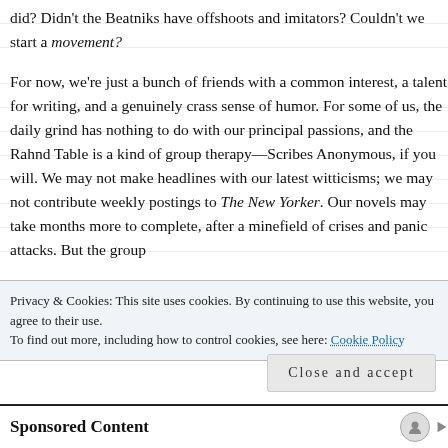did? Didn't the Beatniks have offshoots and imitators? Couldn't we start a movement?
For now, we're just a bunch of friends with a common interest, a talent for writing, and a genuinely crass sense of humor. For some of us, the daily grind has nothing to do with our principal passions, and the Rahnd Table is a kind of group therapy—Scribes Anonymous, if you will. We may not make headlines with our latest witticisms; we may not contribute weekly postings to The New Yorker. Our novels may take months more to complete, after a minefield of crises and panic attacks. But the group
Privacy & Cookies: This site uses cookies. By continuing to use this website, you agree to their use.
To find out more, including how to control cookies, see here: Cookie Policy
Close and accept
Sponsored Content